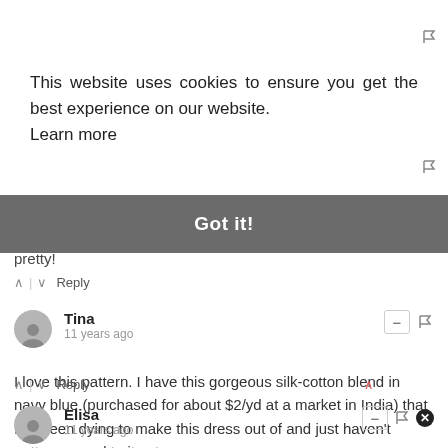This website uses cookies to ensure you get the best experience on our website. Learn more
Got it!
out so pretty!
Reply
Tina
11 years ago
I love this pattern. I have this gorgeous silk-cotton blend in navy blue (purchased for about $2/yd at a market in India) that I've been dying to make this dress out of and just haven't gotten around to it yet.
Reply
Elisa
11 years ago